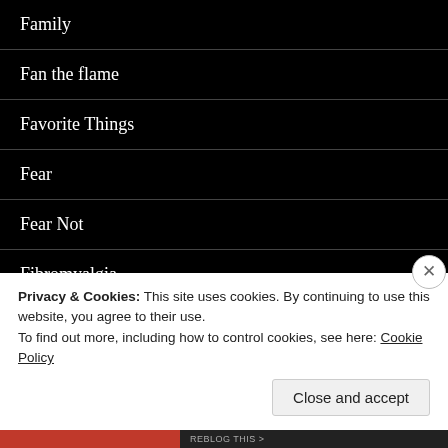Family
Fan the flame
Favorite Things
Fear
Fear Not
Fibromyalgia
Focus on Jesus
Forgiveness
Foo…
Privacy & Cookies: This site uses cookies. By continuing to use this website, you agree to their use.
To find out more, including how to control cookies, see here: Cookie Policy
Close and accept